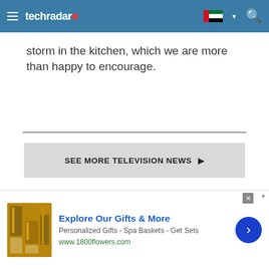techradar
storm in the kitchen, which we are more than happy to encourage.
SEE MORE TELEVISION NEWS ▶
MORE ABOUT TELEVISIONS
LATEST
[Figure (other): Advertisement: Explore Our Gifts & More - Personalized Gifts - Spa Baskets - Get Sets - www.1800flowers.com]